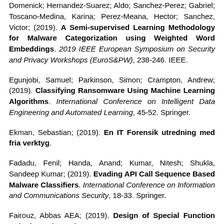Domenick; Hernandez-Suarez; Aldo; Sanchez-Perez; Gabriel; Toscano-Medina, Karina; Perez-Meana, Hector; Sanchez, Victor; (2019). A Semi-supervised Learning Methodology for Malware Categorization using Weighted Word Embeddings. 2019 IEEE European Symposium on Security and Privacy Workshops (EuroS&PW), 238-246. IEEE.
Egunjobi, Samuel; Parkinson, Simon; Crampton, Andrew; (2019). Classifying Ransomware Using Machine Learning Algorithms. International Conference on Intelligent Data Engineering and Automated Learning, 45-52. Springer.
Ekman, Sebastian; (2019). En IT Forensik utredning med fria verktyg.
Fadadu, Fenil; Handa, Anand; Kumar, Nitesh; Shukla, Sandeep Kumar; (2019). Evading API Call Sequence Based Malware Classifiers. International Conference on Information and Communications Security, 18-33. Springer.
Fairouz, Abbas AEA; (2019). Design of Special Function Units in Modern Microprocessors.